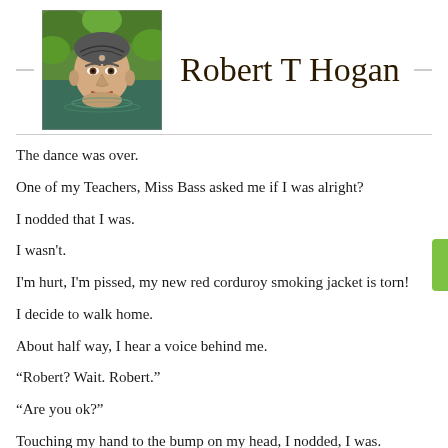[Figure (illustration): Illustrated portrait of a man's face partially submerged in water, with green tropical foliage background, in a comic/graphic novel style]
Robert T Hogan
The dance was over.
One of my Teachers, Miss Bass asked me if I was alright?
I nodded that I was.
I wasn't.
I'm hurt, I'm pissed, my new red corduroy smoking jacket is torn!
I decide to walk home.
About half way, I hear a voice behind me.
“Robert? Wait. Robert.”
“Are you ok?”
Touching my hand to the bump on my head, I nodded, I was.